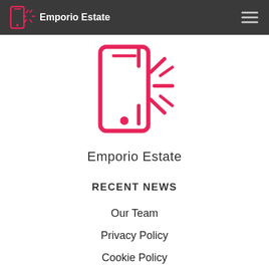Emporio Estate
[Figure (logo): Emporio Estate logo: pink outline of a smartphone with sun/brightness rays icon]
Emporio Estate
RECENT NEWS
Our Team
Privacy Policy
Cookie Policy
Terms Of Use
Contact
RSS Feed
Sitemap